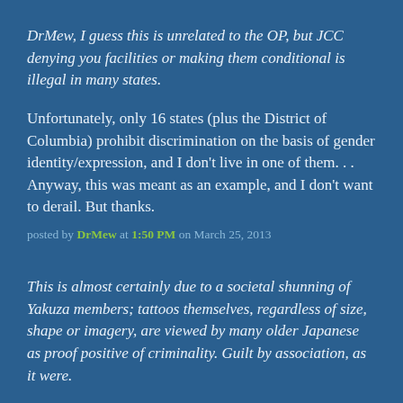DrMew, I guess this is unrelated to the OP, but JCC denying you facilities or making them conditional is illegal in many states.
Unfortunately, only 16 states (plus the District of Columbia) prohibit discrimination on the basis of gender identity/expression, and I don't live in one of them. . . Anyway, this was meant as an example, and I don't want to derail. But thanks.
posted by DrMew at 1:50 PM on March 25, 2013
This is almost certainly due to a societal shunning of Yakuza members; tattoos themselves, regardless of size, shape or imagery, are viewed by many older Japanese as proof positive of criminality. Guilt by association, as it were.